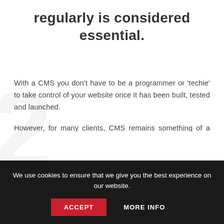regularly is considered essential.
With a CMS you don't have to be a programmer or 'techie' to take control of your website once it has been built, tested and launched.
However, for many clients, CMS remains something of a minefield. While some are well versed in the pros and cons of open source versus proprietary systems,
We use cookies to ensure that we give you the best experience on our website. ACCEPT MORE INFO